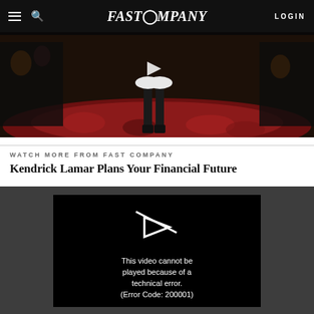FAST COMPANY — LOGIN
[Figure (screenshot): Fashion runway video thumbnail showing legs of a model walking on a floral carpet, with a play button overlay. Dark background with audience visible.]
WATCH MORE FROM FAST COMPANY
Kendrick Lamar Plans Your Financial Future
[Figure (screenshot): Video player showing error message: 'This video cannot be played because of a technical error. (Error Code: 200001)' on black background with a play icon, embedded in a dark grey container.]